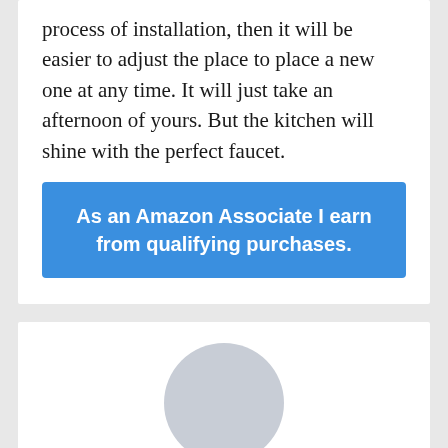process of installation, then it will be easier to adjust the place to place a new one at any time. It will just take an afternoon of yours. But the kitchen will shine with the perfect faucet.
As an Amazon Associate I earn from qualifying purchases.
[Figure (illustration): A grey circular avatar/profile placeholder image]